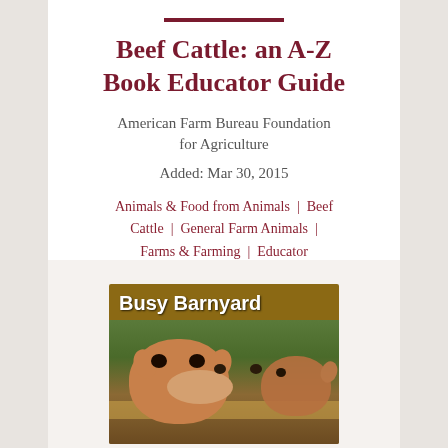Beef Cattle: an A-Z Book Educator Guide
American Farm Bureau Foundation for Agriculture
Added: Mar 30, 2015
Animals & Food from Animals | Beef Cattle | General Farm Animals | Farms & Farming | Educator Guides | Elementary School
[Figure (photo): Book cover of 'Busy Barnyard' showing close-up of a cow face and other farm animals with hay in the background]